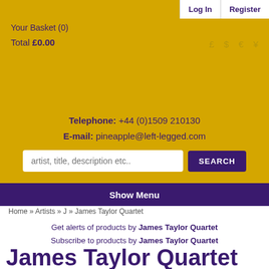Log In | Register
Your Basket (0)
Total £0.00
£ $ € ¥
Telephone: +44 (0)1509 210130
E-mail: pineapple@left-legged.com
artist, title, description etc..  SEARCH
Show Menu
Home » Artists » J » James Taylor Quartet
Get alerts of products by James Taylor Quartet
Subscribe to products by James Taylor Quartet
James Taylor Quartet